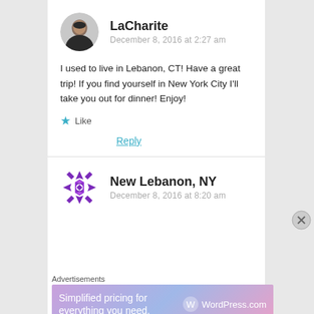[Figure (photo): Avatar photo of LaCharite, a person shown from shoulders up]
LaCharite
December 8, 2016 at 2:27 am
I used to live in Lebanon, CT! Have a great trip! If you find yourself in New York City I'll take you out for dinner! Enjoy!
★ Like
Reply
[Figure (logo): Purple decorative snowflake/diamond pattern avatar for New Lebanon, NY]
New Lebanon, NY
December 8, 2016 at 8:20 am
Advertisements
[Figure (screenshot): WordPress.com advertisement banner: Simplified pricing for everything you need.]